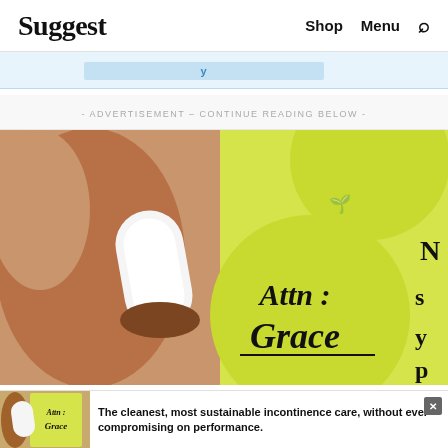Suggest  Shop  Menu
[Figure (screenshot): Partial blue banner at top with highlighted text below header]
- ADVERTISEMENT - CONTINUE READING BELOW -
[Figure (photo): Advertisement image for Attn: Grace incontinence products. Shows a Black woman holding a white pad/liner against a yellow-green background with large circles. Text reads 'Attn: Grace']
[Figure (photo): Bottom banner ad for Attn: Grace: 'The cleanest, most sustainable incontinence care, without ever compromising on performance.']